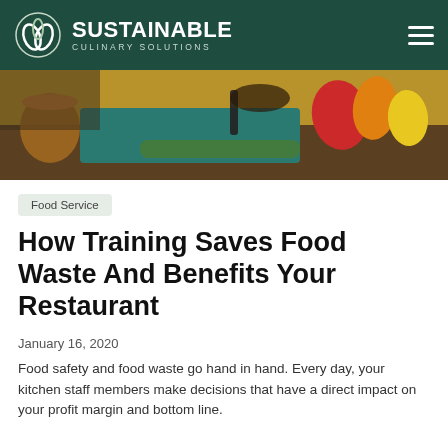SUSTAINABLE CULINARY SOLUTIONS
[Figure (photo): Kitchen scene with chef's hands chopping vegetables on a teal cutting board, with colorful bell peppers and other vegetables visible, copper pot in background]
Food Service
How Training Saves Food Waste And Benefits Your Restaurant
January 16, 2020
Food safety and food waste go hand in hand. Every day, your kitchen staff members make decisions that have a direct impact on your profit margin and bottom line.